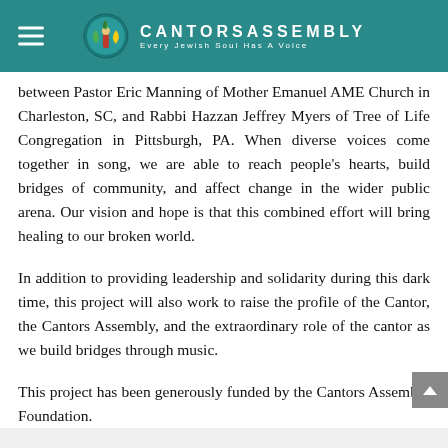CANTORS ASSEMBLY — Every Jewish Soul Has A Voice
between Pastor Eric Manning of Mother Emanuel AME Church in Charleston, SC, and Rabbi Hazzan Jeffrey Myers of Tree of Life Congregation in Pittsburgh, PA. When diverse voices come together in song, we are able to reach people's hearts, build bridges of community, and affect change in the wider public arena. Our vision and hope is that this combined effort will bring healing to our broken world.
In addition to providing leadership and solidarity during this dark time, this project will also work to raise the profile of the Cantor, the Cantors Assembly, and the extraordinary role of the cantor as we build bridges through music.
This project has been generously funded by the Cantors Assembly Foundation.